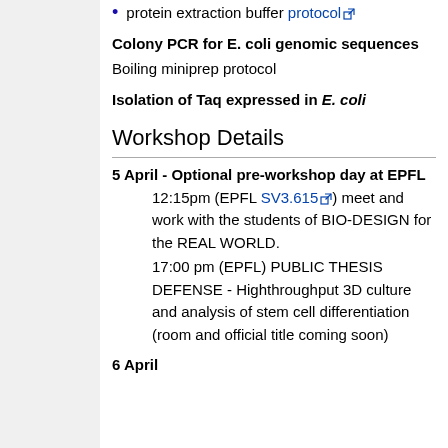protein extraction buffer protocol
Colony PCR for E. coli genomic sequences
Boiling miniprep protocol
Isolation of Taq expressed in E. coli
Workshop Details
5 April - Optional pre-workshop day at EPFL
12:15pm (EPFL SV3.615) meet and work with the students of BIO-DESIGN for the REAL WORLD.
17:00 pm (EPFL) PUBLIC THESIS DEFENSE - Highthroughput 3D culture and analysis of stem cell differentiation (room and official title coming soon)
6 April